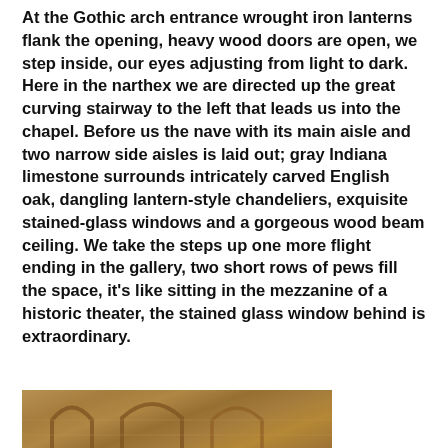At the Gothic arch entrance wrought iron lanterns flank the opening, heavy wood doors are open, we step inside, our eyes adjusting from light to dark. Here in the narthex we are directed up the great curving stairway to the left that leads us into the chapel. Before us the nave with its main aisle and two narrow side aisles is laid out; gray Indiana limestone surrounds intricately carved English oak, dangling lantern-style chandeliers, exquisite stained-glass windows and a gorgeous wood beam ceiling. We take the steps up one more flight ending in the gallery, two short rows of pews fill the space, it's like sitting in the mezzanine of a historic theater, the stained glass window behind is extraordinary.
[Figure (photo): Photograph of a Gothic arch interior showing warm golden-brown stone arches, likely the chapel interior with carved limestone archways visible.]